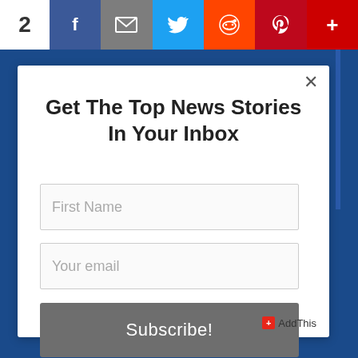[Figure (screenshot): Social sharing toolbar with count (2), Facebook, Email, Twitter, Reddit, Pinterest, and More buttons in respective brand colors]
Get The Top News Stories In Your Inbox
[Figure (screenshot): Email subscription form with First Name input field, Your email input field, and Subscribe! button in gray]
AddThis